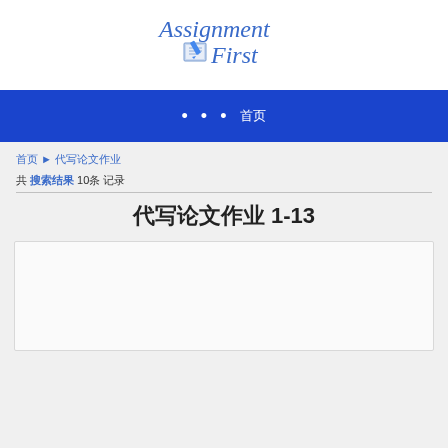[Figure (logo): Assignment First logo with blue italic text and book/pen icon]
• • •  首页
首页 ► 代写论文作业
共 搜索结果 10条 记录
代写论文作业 1-13